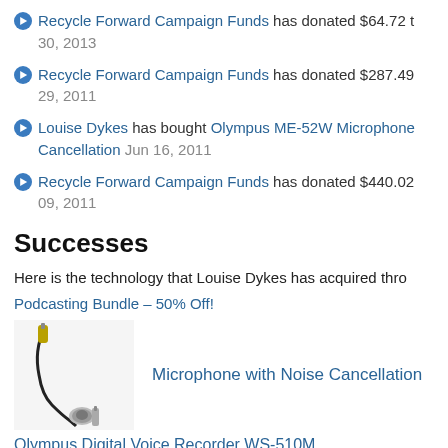Recycle Forward Campaign Funds has donated $64.72 to 30, 2013
Recycle Forward Campaign Funds has donated $287.49 29, 2011
Louise Dykes has bought Olympus ME-52W Microphone Cancellation Jun 16, 2011
Recycle Forward Campaign Funds has donated $440.02 09, 2011
Successes
Here is the technology that Louise Dykes has acquired thro
Podcasting Bundle – 50% Off!
[Figure (photo): Small lavalier microphone with cable and connector]
Microphone with Noise Cancellation
Olympus Digital Voice Recorder WS-510M